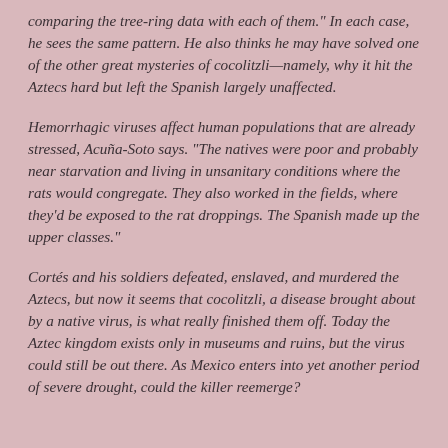comparing the tree-ring data with each of them." In each case, he sees the same pattern. He also thinks he may have solved one of the other great mysteries of cocolitzli—namely, why it hit the Aztecs hard but left the Spanish largely unaffected.
Hemorrhagic viruses affect human populations that are already stressed, Acuña-Soto says. "The natives were poor and probably near starvation and living in unsanitary conditions where the rats would congregate. They also worked in the fields, where they'd be exposed to the rat droppings. The Spanish made up the upper classes."
Cortés and his soldiers defeated, enslaved, and murdered the Aztecs, but now it seems that cocolitzli, a disease brought about by a native virus, is what really finished them off. Today the Aztec kingdom exists only in museums and ruins, but the virus could still be out there. As Mexico enters into yet another period of severe drought, could the killer reemerge?